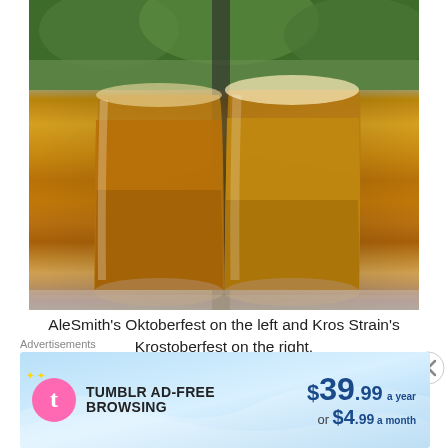[Figure (photo): Two amber beer steins/glasses side by side on a table with a decorative tablecloth, green trees visible in the background. Left glass is AleSmith's Oktoberfest, right glass is Kros Strain's Krostoberfest.]
AleSmith's Oktoberfest on the left and Kros Strain's Krostoberfest on the right.
AleSmith's head dissipated quickly while Kros Strain's...